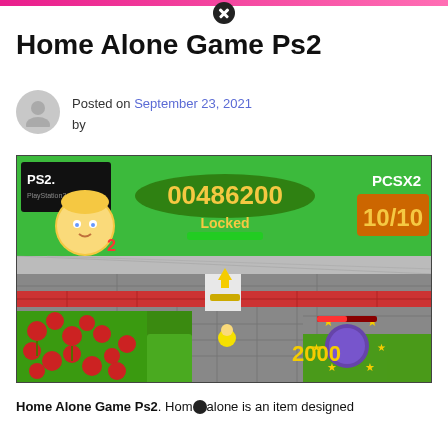Home Alone Game Ps2
Posted on September 23, 2021 by
[Figure (screenshot): PS2 game screenshot of Home Alone Game showing gameplay with score 00486200, Locked status bar, PCSX2 10/10 rating, character with lives count 2, top-down view of a street scene with flowers, brick wall, and a character facing an enemy with 2000 score popup and stars.]
Home Alone Game Ps2. Home alone is an item designed